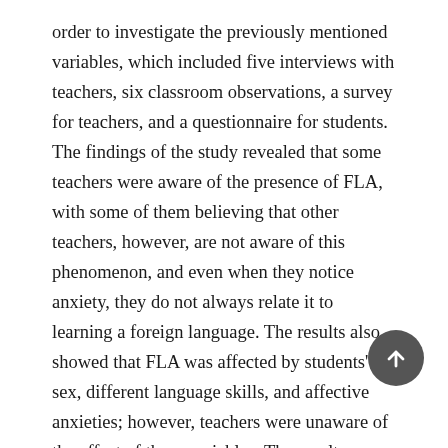order to investigate the previously mentioned variables, which included five interviews with teachers, six classroom observations, a survey for teachers, and a questionnaire for students. The findings of the study revealed that some teachers were aware of the presence of FLA, with some of them believing that other teachers, however, are not aware of this phenomenon, and even when they notice anxiety, they do not always relate it to learning a foreign language. The results also showed that FLA was affected by students' sex, different language skills, and affective anxieties; however, teachers were unaware of the effect of these variables. The results demonstrated that both teachers and students preferred group and pair work to individual activities as they were more relaxing and less anxiety-provoking. These findings contribute to raising teachers' awareness of FLA in ESL classrooms and how it is affected by different variables